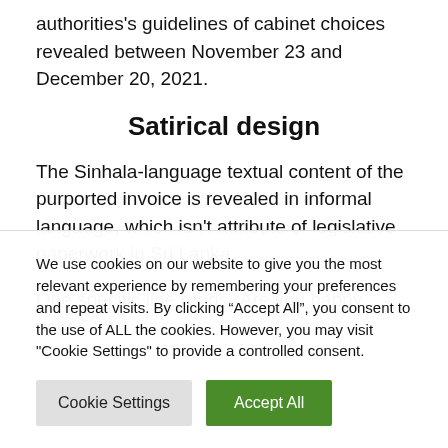authorities's guidelines of cabinet choices revealed between November 23 and December 20, 2021.
Satirical design
The Sinhala-language textual content of the purported invoice is revealed in informal language, which isn't attribute of legislative paperwork in Sri Lanka.
One specific line reads “Are you happy now?” —
We use cookies on our website to give you the most relevant experience by remembering your preferences and repeat visits. By clicking “Accept All”, you consent to the use of ALL the cookies. However, you may visit "Cookie Settings" to provide a controlled consent.